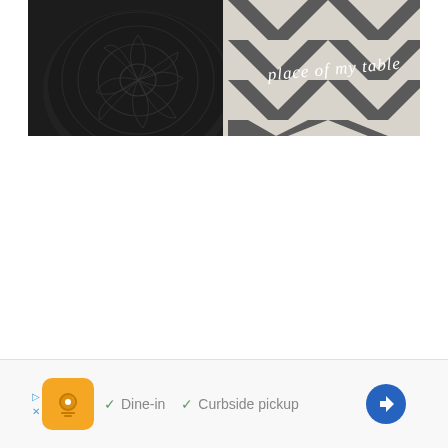[Figure (photo): Top portion of a blog or website page showing a dark decorative pillow or pouf with a floral/mandala pattern on the left, and a black-and-white chevron/zigzag patterned rug or fabric on the right. White cursive handwritten text overlay reads 'place of my table'.]
[Figure (screenshot): Advertisement banner at the bottom of the page. Shows a triangular play icon and X close button on the left, an orange square app icon with a stylized logo, then gray text with green checkmarks: '✓ Dine-in  ✓ Curbside pickup', and a blue diamond-shaped navigation arrow icon on the right.]